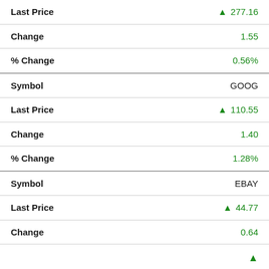| Field | Value |
| --- | --- |
| Last Price | ▲ 277.16 |
| Change | 1.55 |
| % Change | 0.56% |
| Symbol | GOOG |
| Last Price | ▲ 110.55 |
| Change | 1.40 |
| % Change | 1.28% |
| Symbol | EBAY |
| Last Price | ▲ 44.77 |
| Change | 0.64 |